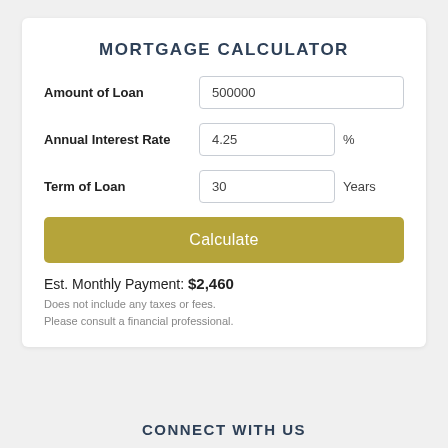MORTGAGE CALCULATOR
Amount of Loan
500000
Annual Interest Rate
4.25
%
Term of Loan
30
Years
Calculate
Est. Monthly Payment: $2,460
Does not include any taxes or fees.
Please consult a financial professional.
CONNECT WITH US